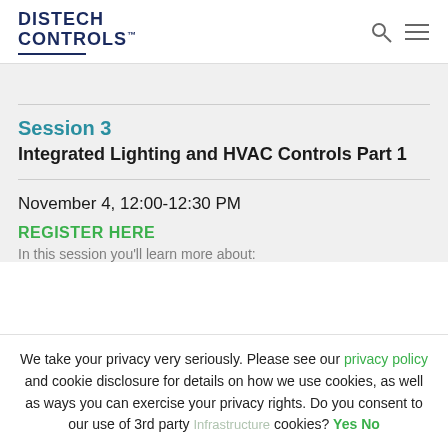DISTECH CONTROLS
Session 3
Integrated Lighting and HVAC Controls Part 1
November 4, 12:00-12:30 PM
REGISTER HERE
In this session you'll learn more about:
We take your privacy very seriously. Please see our privacy policy and cookie disclosure for details on how we use cookies, as well as ways you can exercise your privacy rights. Do you consent to our use of 3rd party cookies? Yes No